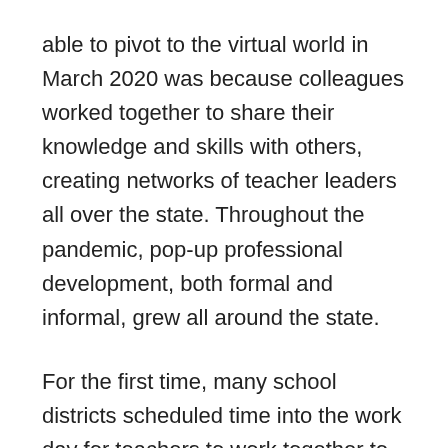able to pivot to the virtual world in March 2020 was because colleagues worked together to share their knowledge and skills with others, creating networks of teacher leaders all over the state. Throughout the pandemic, pop-up professional development, both formal and informal, grew all around the state.
For the first time, many school districts scheduled time into the work day for teachers to work together to solve the problems that were confronting them. NJEA has advocated for years for this model of sustained, job-embedded professional